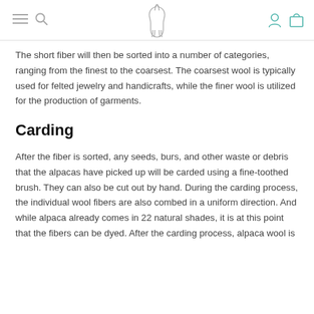[navigation: menu, search, alpaca logo, account, cart]
The short fiber will then be sorted into a number of categories, ranging from the finest to the coarsest. The coarsest wool is typically used for felted jewelry and handicrafts, while the finer wool is utilized for the production of garments.
Carding
After the fiber is sorted, any seeds, burs, and other waste or debris that the alpacas have picked up will be carded using a fine-toothed brush. They can also be cut out by hand. During the carding process, the individual wool fibers are also combed in a uniform direction. And while alpaca already comes in 22 natural shades, it is at this point that the fibers can be dyed. After the carding process, alpaca wool is